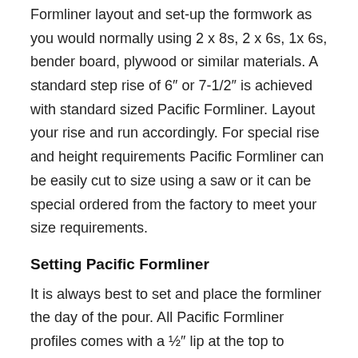Formliner layout and set-up the formwork as you would normally using 2 x 8s, 2 x 6s, 1x 6s, bender board, plywood or similar materials. A standard step rise of 6" or 7-1/2" is achieved with standard sized Pacific Formliner. Layout your rise and run accordingly. For special rise and height requirements Pacific Formliner can be easily cut to size using a saw or it can be special ordered from the factory to meet your size requirements.
Setting Pacific Formliner
It is always best to set and place the formliner the day of the pour. All Pacific Formliner profiles comes with a ½" lip at the top to prevent tattering and increase its usable life. Consequently Pacific Formliner needs to be installed ½" above the formwork (finished surface), a small ½"